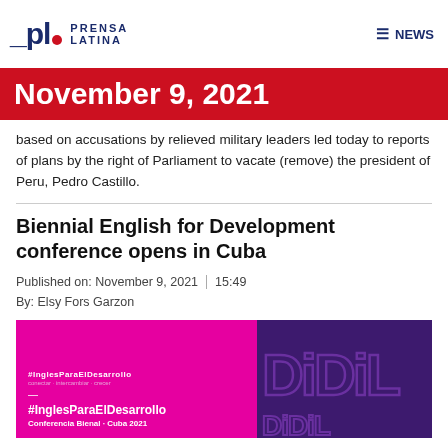Prensa Latina | NEWS
November 9, 2021
based on accusations by relieved military leaders led today to reports of plans by the right of Parliament to vacate (remove) the president of Peru, Pedro Castillo.
Biennial English for Development conference opens in Cuba
Published on: November 9, 2021 | 15:49
By: Elsy Fors Garzon
[Figure (photo): Event banner image with magenta background showing #InglesParaElDesarrollo and Conferencia Bienal - Cuba 2021 text, alongside purple background with stylized DiDiL text]